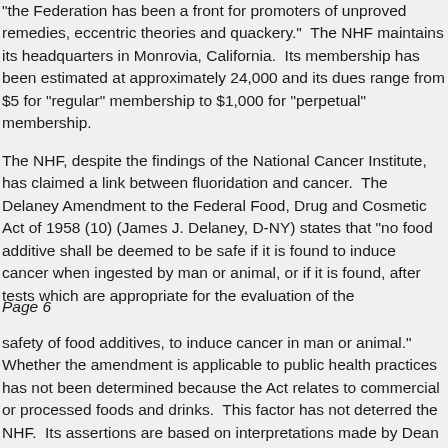"the Federation has been a front for promoters of unproved remedies, eccentric theories and quackery." The NHF maintains its headquarters in Monrovia, California. Its membership has been estimated at approximately 24,000 and its dues range from $5 for "regular" membership to $1,000 for "perpetual" membership.
The NHF, despite the findings of the National Cancer Institute, has claimed a link between fluoridation and cancer. The Delaney Amendment to the Federal Food, Drug and Cosmetic Act of 1958 (10) (James J. Delaney, D-NY) states that "no food additive shall be deemed to be safe if it is found to induce cancer when ingested by man or animal, or if it is found, after tests which are appropriate for the evaluation of the
Page 6
safety of food additives, to induce cancer in man or animal." Whether the amendment is applicable to public health practices has not been determined because the Act relates to commercial or processed foods and drinks. This factor has not deterred the NHF. Its assertions are based on interpretations made by Dean Burk, Ph.D., a former biochemist with the National Cancer Institute, and John Yiamouviannis, Ph.D., a biochemist and the Science